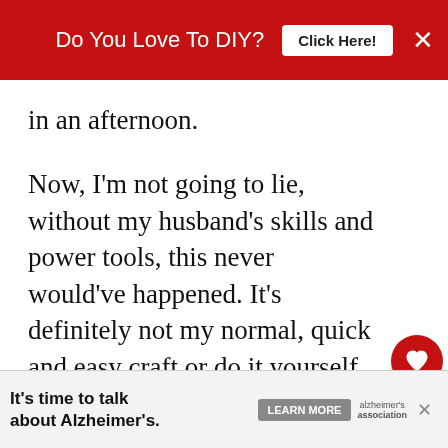Do You Love To DIY?  Click Here!  ×
in an afternoon.
Now, I'm not going to lie, without my husband's skills and power tools, this never would've happened. It's definitely not my normal, quick and easy craft or do it yourself project.
However, since we couldn't find any
[Figure (infographic): What's Next arrow label with circular thumbnail image and text 'Cozy Cottage Kitchen Nook']
It's time to talk about Alzheimer's.  LEARN MORE  alzheimer's association  ×